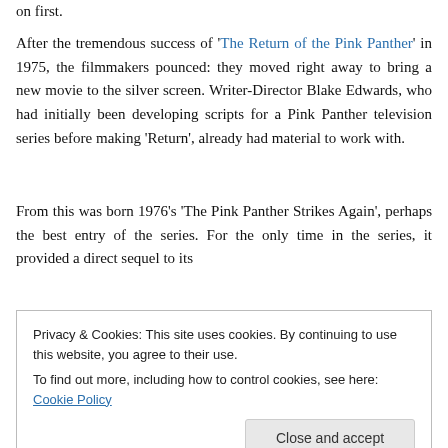on first.
After the tremendous success of 'The Return of the Pink Panther' in 1975, the filmmakers pounced: they moved right away to bring a new movie to the silver screen. Writer-Director Blake Edwards, who had initially been developing scripts for a Pink Panther television series before making 'Return', already had material to work with.
From this was born 1976's 'The Pink Panther Strikes Again', perhaps the best entry of the series. For the only time in the series, it provided a direct sequel to its
Privacy & Cookies: This site uses cookies. By continuing to use this website, you agree to their use.
To find out more, including how to control cookies, see here: Cookie Policy